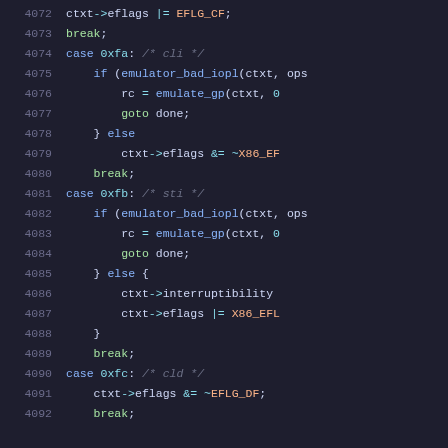4072    ctxt->eflags |= EFLG_CF;
4073    break;
4074    case 0xfa: /* cli */
4075        if (emulator_bad_iopl(ctxt, ops
4076            rc = emulate_gp(ctxt, 0
4077            goto done;
4078        } else
4079            ctxt->eflags &= ~X86_EF
4080    break;
4081    case 0xfb: /* sti */
4082        if (emulator_bad_iopl(ctxt, ops
4083            rc = emulate_gp(ctxt, 0
4084            goto done;
4085        } else {
4086            ctxt->interruptibility
4087            ctxt->eflags |= X86_EFL
4088        }
4089        break;
4090    case 0xfc: /* cld */
4091        ctxt->eflags &= ~EFLG_DF;
4092        break;